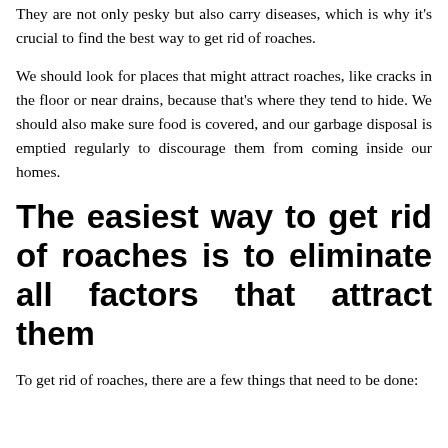They are not only pesky but also carry diseases, which is why it's crucial to find the best way to get rid of roaches.
We should look for places that might attract roaches, like cracks in the floor or near drains, because that's where they tend to hide. We should also make sure food is covered, and our garbage disposal is emptied regularly to discourage them from coming inside our homes.
The easiest way to get rid of roaches is to eliminate all factors that attract them
To get rid of roaches, there are a few things that need to be done: